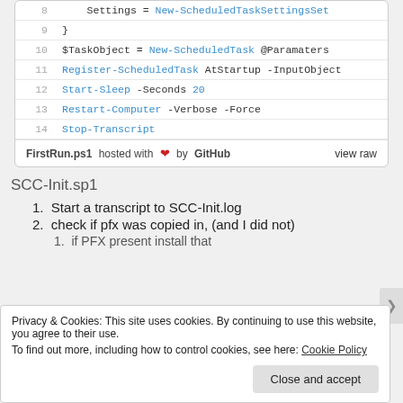[Figure (screenshot): Code block showing PowerShell script lines 8-14 with line numbers and syntax highlighting]
FirstRun.ps1 hosted with ❤ by GitHub   view raw
SCC-Init.sp1
1. Start a transcript to SCC-Init.log
2. check if pfx was copied in, (and I did not)
1. if PFX present install that
Privacy & Cookies: This site uses cookies. By continuing to use this website, you agree to their use. To find out more, including how to control cookies, see here: Cookie Policy
Close and accept